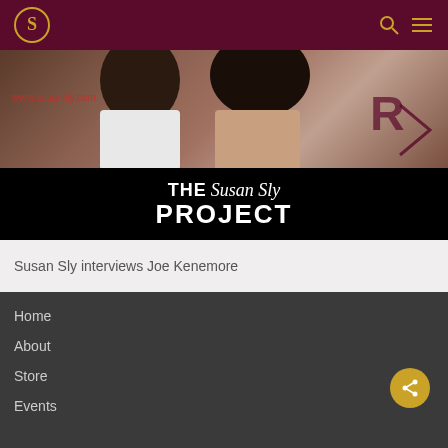S (logo) — header bar with search and menu icons
[Figure (photo): Photo of two women with dark hair; watermark text 'www.susansly.com'; black banner below reading 'THE Susan Sly PROJECT']
Susan Sly interviews Joe Kenemore
Home
About
Store
Events